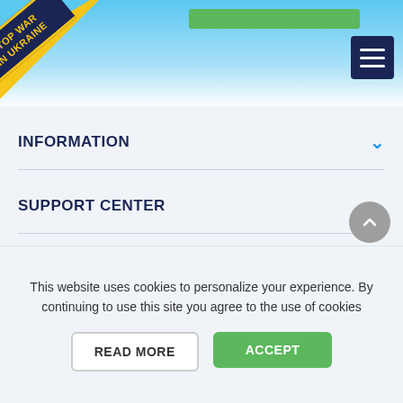[Figure (screenshot): Website header with blue sky gradient background, green button, hamburger menu icon (dark navy), and a diagonal ribbon banner reading STOP WAR IN UKRAINE in yellow text on dark navy with yellow paint stroke]
INFORMATION
SUPPORT CENTER
FOR PARTNERS
This website uses cookies to personalize your experience. By continuing to use this site you agree to the use of cookies
READ MORE
ACCEPT